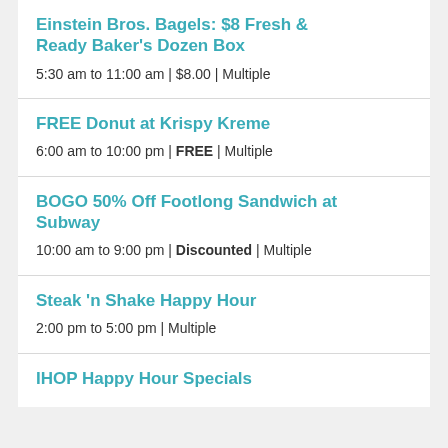Einstein Bros. Bagels: $8 Fresh & Ready Baker's Dozen Box
5:30 am to 11:00 am | $8.00 | Multiple
FREE Donut at Krispy Kreme
6:00 am to 10:00 pm | FREE | Multiple
BOGO 50% Off Footlong Sandwich at Subway
10:00 am to 9:00 pm | Discounted | Multiple
Steak 'n Shake Happy Hour
2:00 pm to 5:00 pm | Multiple
IHOP Happy Hour Specials